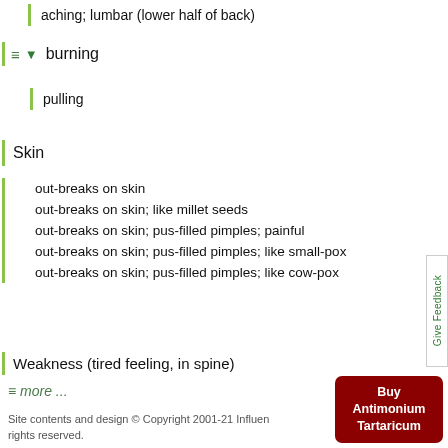aching; lumbar (lower half of back)
burning
pulling
Skin
out-breaks on skin
out-breaks on skin; like millet seeds
out-breaks on skin; pus-filled pimples; painful
out-breaks on skin; pus-filled pimples; like small-pox
out-breaks on skin; pus-filled pimples; like cow-pox
Weakness (tired feeling, in spine)
≡ more ...
Site contents and design © Copyright 2001-21 Influences rights reserved.